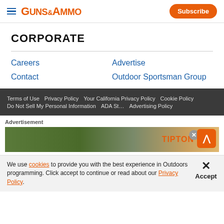GUNS&AMMO — Subscribe
CORPORATE
Careers
Advertise
Contact
Outdoor Sportsman Group
Terms of Use | Privacy Policy | Your California Privacy Policy | Cookie Policy | Do Not Sell My Personal Information | ADA St... | Advertising Policy
[Figure (screenshot): Advertisement overlay showing a rifle scoped image with TIPTON branding, close button and scroll-to-top button]
We use cookies to provide you with the best experience in Outdoors programming. Click accept to continue or read about our Privacy Policy.